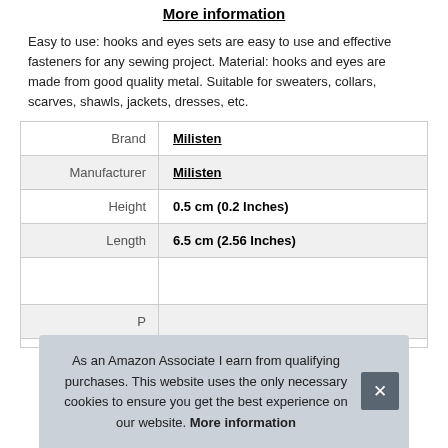More information
Easy to use: hooks and eyes sets are easy to use and effective fasteners for any sewing project. Material: hooks and eyes are made from good quality metal. Suitable for sweaters, collars, scarves, shawls, jackets, dresses, etc.
|  |  |
| --- | --- |
| Brand | Milisten |
| Manufacturer | Milisten |
| Height | 0.5 cm (0.2 Inches) |
| Length | 6.5 cm (2.56 Inches) |
| P |  |
As an Amazon Associate I earn from qualifying purchases. This website uses the only necessary cookies to ensure you get the best experience on our website. More information